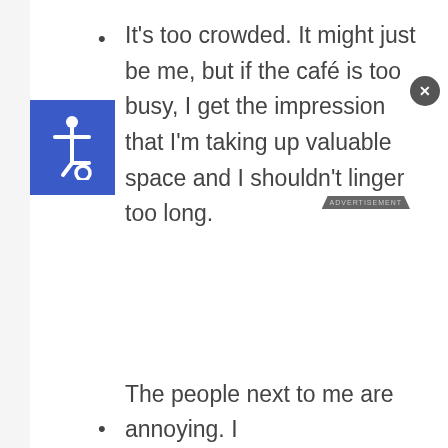[Figure (illustration): Blue square with white wheelchair accessibility icon]
It's too crowded. It might just be me, but if the café is too busy, I get the impression that I'm taking up valuable space and I shouldn't linger too long.
The people next to me are annoying. I